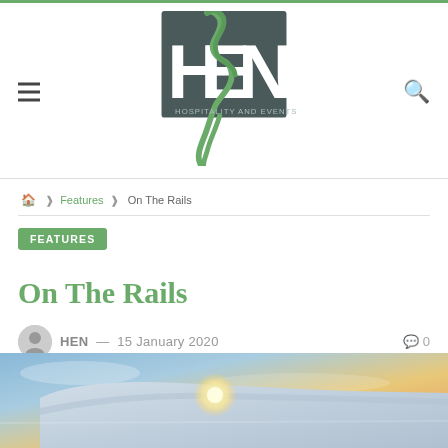[Figure (logo): HEN - Hospitality and Events North logo with green stylized figure and dark grey block letters]
🏠 ❯ Features ❯ On The Rails
FEATURES
On The Rails
HEN — 15 January 2020   💬 0
[Figure (photo): Partial image of a train or rail vehicle with a glowing light against a sunset sky background]